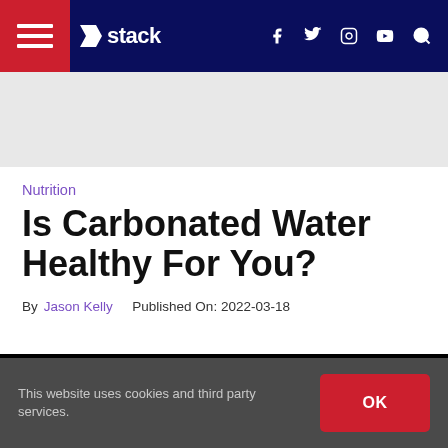Stack — navigation bar with hamburger menu, logo, social icons, and search
[Figure (other): Advertisement banner placeholder (light gray background)]
Nutrition
Is Carbonated Water Healthy For You?
By Jason Kelly  Published On: 2022-03-18
[Figure (photo): Hero image area (black background, video/photo not loaded)]
This website uses cookies and third party services.